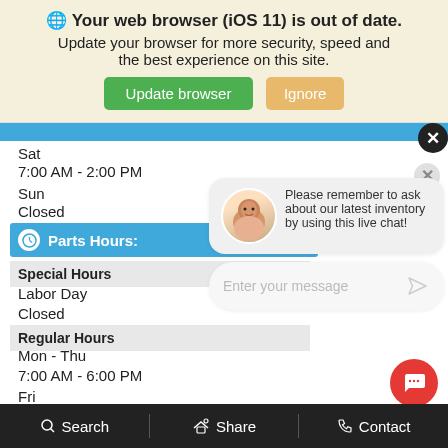🌐 Your web browser (iOS 11) is out of date. Update your browser for more security, speed and the best experience on this site. [Update browser] [Ignore]
Sat
7:00 AM - 2:00 PM
Sun
Closed
Parts Hours:
Special Hours
Labor Day
Closed
Regular Hours
Mon - Thu
7:00 AM - 6:00 PM
Fri
7:00 AM - 5:30 PM
Please remember to ask about our latest inventory by using this live chat!
Enter your message
Search   Share   Contact